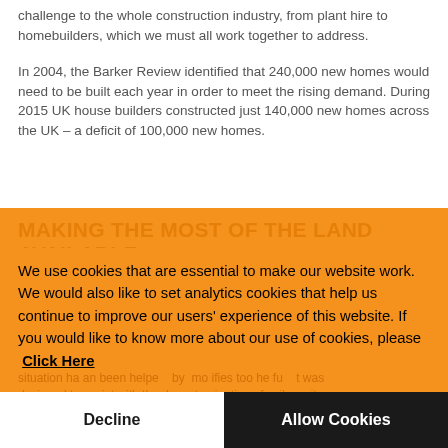challenge to the whole construction industry, from plant hire to homebuilders, which we must all work together to address.
In 2004, the Barker Review identified that 240,000 new homes would need to be built each year in order to meet the rising demand. During 2015 UK house builders constructed just 140,000 new homes across the UK – a deficit of 100,000 new homes.
MAKING THE MOST OF THE LAND AVAILABLE
Our ... e Solutions can help ... by supplying ... ment ... public land which can be used for house building, but there are still issues due to the controversy and ... The situation has been helped by a modification that was designed to assist with the decontamination of soil on sites which have been previously occupied by industry and other
We use cookies that are essential to make our website work. We would also like to set analytics cookies that help us continue to improve our users' experience of this website. If you would like to know more about our use of cookies, please Click Here